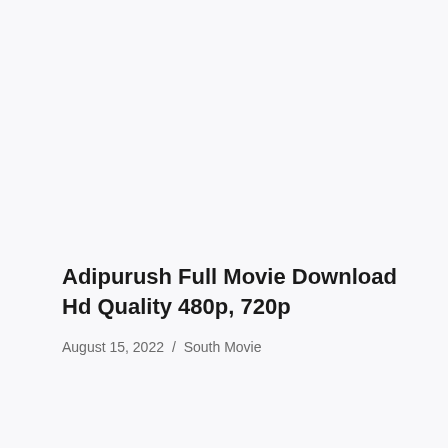Adipurush Full Movie Download Hd Quality 480p, 720p
August 15, 2022  /  South Movie